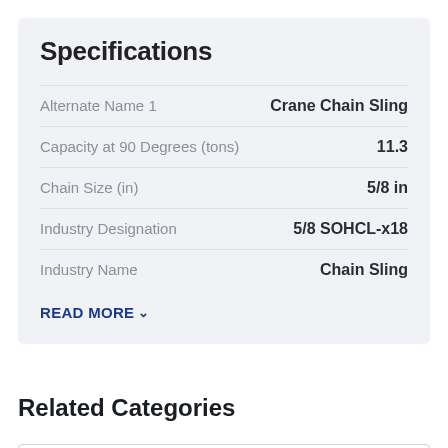Specifications
| Attribute | Value |
| --- | --- |
| Alternate Name 1 | Crane Chain Sling |
| Capacity at 90 Degrees (tons) | 11.3 |
| Chain Size (in) | 5/8 in |
| Industry Designation | 5/8 SOHCL-x18 |
| Industry Name | Chain Sling |
READ MORE
Related Categories